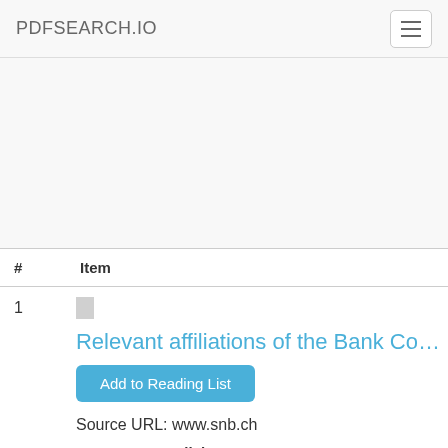PDFSEARCH.IO
| # | Item |
| --- | --- |
| 1 | Relevant affiliations of the Bank Co...
Add to Reading List
Source URL: www.snb.ch
Language: English
• Geography of Europe
• Europe... |
Geography of Europe
Europe